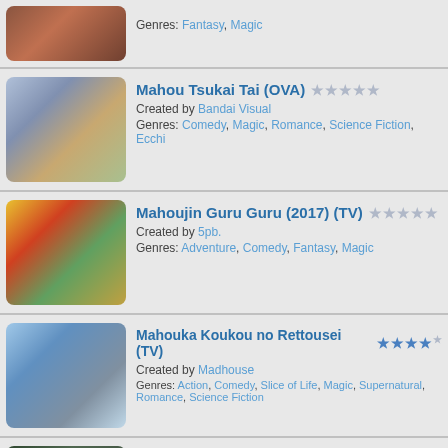Genres: Fantasy, Magic
Mahou Tsukai Tai (OVA) — Created by Bandai Visual — Genres: Comedy, Magic, Romance, Science Fiction, Ecchi
Mahoujin Guru Guru (2017) (TV) — Created by 5pb. — Genres: Adventure, Comedy, Fantasy, Magic
Mahouka Koukou no Rettousei (TV) — Created by Madhouse — Genres: Action, Comedy, Slice of Life, Magic, Supernatural, Romance, Science Fiction
Mahouka Koukou no Rettousei (TV) — Created by Madhouse — Genres: Action, Magic, Supernatural, Romance, Science Fiction, Tournament
Mahouka Koukou no Rettousei: Raihousha-hen (TV) — Created by A-1 Pictures Inc. — Genres: Drama, Magic, Supernatural, Romance, Science Fiction